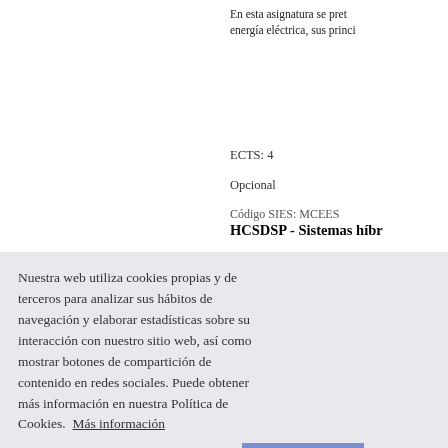En esta asignatura se pretende... energía eléctrica, sus princi...
ECTS: 4
Opcional
Código SIES: MCEES...
HCSDSP - Sistemas híbr...
El objetivo de la asignatu... electrónico... presta especial atención a l... las no idealidades en la i... asignatura es profundizar... tiempo real (DSP y microd... en "Microcontroladores" e... en tiempo real y las bases d...
ECTS: 4
Opcional
Código SIES: MCEES...
DCACM - Control Diná...
Nuestra web utiliza cookies propias y de terceros para analizar sus hábitos de navegación y elaborar estadísticas sobre su interacción con nuestro sitio web, así como mostrar botones de compartición de contenido en redes sociales. Puede obtener más información en nuestra Política de Cookies.  Más información